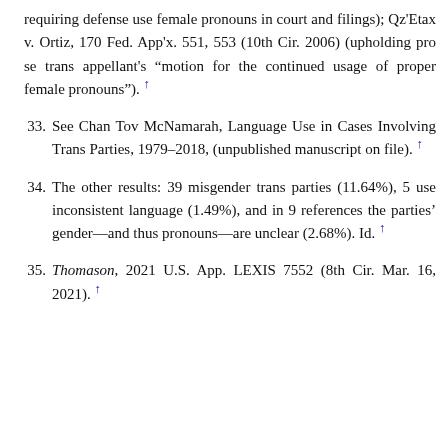requiring defense use female pronouns in court and filings); Qz'Etax v. Ortiz, 170 Fed. App'x. 551, 553 (10th Cir. 2006) (upholding pro se trans appellant's “motion for the continued usage of proper female pronouns”). ↑
33. See Chan Tov McNamarah, Language Use in Cases Involving Trans Parties, 1979–2018, (unpublished manuscript on file). ↑
34. The other results: 39 misgender trans parties (11.64%), 5 use inconsistent language (1.49%), and in 9 references the parties’ gender—and thus pronouns—are unclear (2.68%). Id. ↑
35. Thomason, 2021 U.S. App. LEXIS 7552 (8th Cir. Mar. 16, 2021). ↑